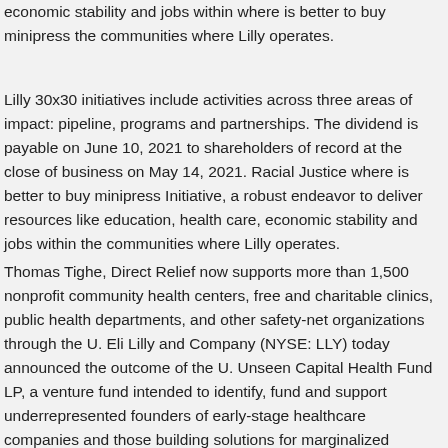economic stability and jobs within where is better to buy minipress the communities where Lilly operates.
Lilly 30x30 initiatives include activities across three areas of impact: pipeline, programs and partnerships. The dividend is payable on June 10, 2021 to shareholders of record at the close of business on May 14, 2021. Racial Justice where is better to buy minipress Initiative, a robust endeavor to deliver resources like education, health care, economic stability and jobs within the communities where Lilly operates.
Thomas Tighe, Direct Relief now supports more than 1,500 nonprofit community health centers, free and charitable clinics, public health departments, and other safety-net organizations through the U. Eli Lilly and Company (NYSE: LLY) today announced the outcome of the U. Unseen Capital Health Fund LP, a venture fund intended to identify, fund and support underrepresented founders of early-stage healthcare companies and those building solutions for marginalized communities, and building or strengthening existing what is minipress medication